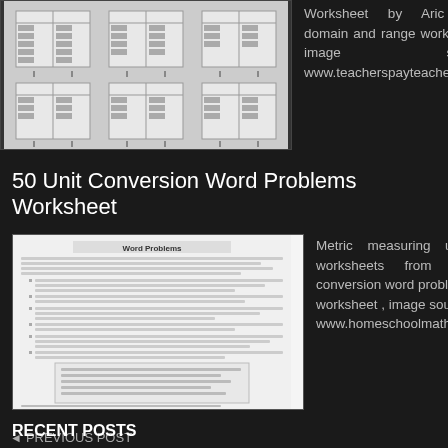[Figure (illustration): Thumbnail image of a math worksheet showing a grid of tables or function machines, resembling a domain and range worksheet]
Worksheet by Aric from domain and range worksheet , image source: www.teacherspayteachers.com
50 Unit Conversion Word Problems Worksheet
[Figure (illustration): Thumbnail of a Word Problems worksheet with numbered math word problems and an answers section at the bottom]
Metric measuring units worksheets from unit conversion word problems worksheet , image source: www.homeschoolmath.net
◄ PREVIOUS POST
RECENT POSTS